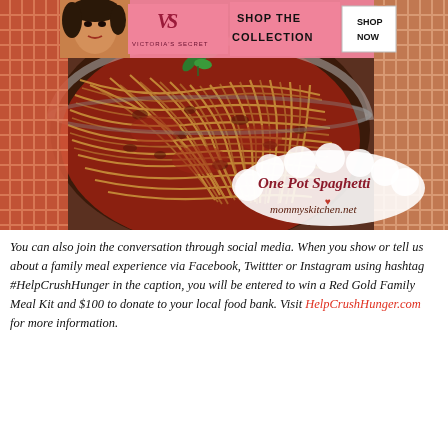[Figure (photo): Food blog image showing a pot of one pot spaghetti with tomato meat sauce and a mint garnish. Overlaid Victoria's Secret advertisement banner at top with pink background, model photo, logo, 'SHOP THE COLLECTION' text and 'SHOP NOW' button. Decorative text overlay in bottom right reads 'One Pot Spaghetti mommyskitchen.net' in cursive script on a cream cloud shape.]
You can also join the conversation through social media. When you show or tell us about a family meal experience via Facebook, Twittter or Instagram using hashtag #HelpCrushHunger in the caption, you will be entered to win a Red Gold Family Meal Kit and $100 to donate to your local food bank. Visit HelpCrushHunger.com for more information.